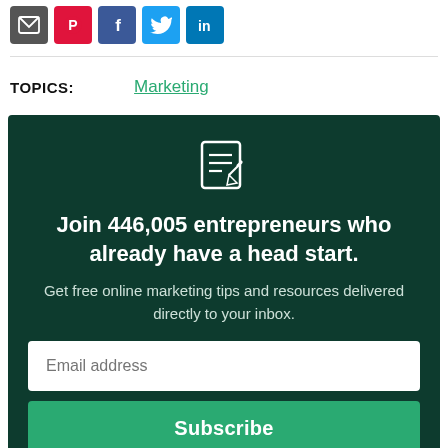[Figure (other): Row of social sharing icon buttons: email (envelope, dark grey), Pinterest (red), Facebook (blue), Twitter (light blue), LinkedIn (blue)]
TOPICS:   Marketing
[Figure (infographic): Dark green subscription box with notepad/pencil icon, headline 'Join 446,005 entrepreneurs who already have a head start.', subtext 'Get free online marketing tips and resources delivered directly to your inbox.', email address input field, and Subscribe button.]